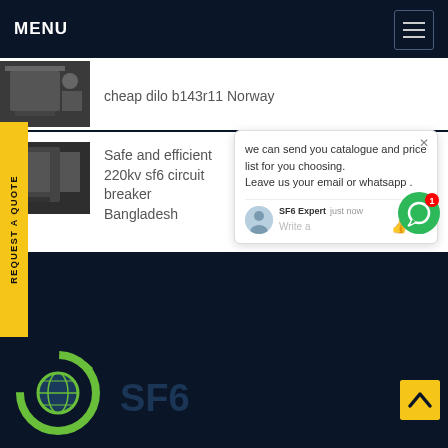MENU
cheap dilo b143r11 Norway
Safe and efficient 220kv sf6 circuit breaker Bangladesh
we can send you catalogue and price list for you choosing. Leave us your email or whatsapp .
SF6 Expert  just now
Write a
SF6